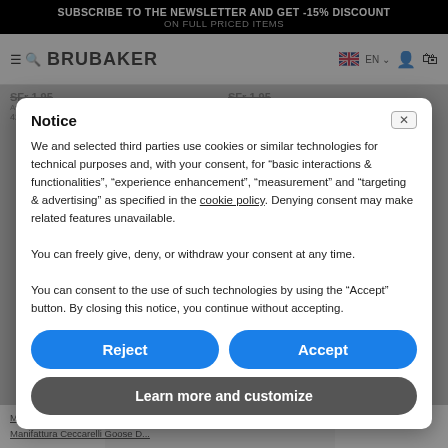SUBSCRIBE TO THE NEWSLETTER AND GET -15% DISCOUNT ON FULL PRICED ITEMS
BRUBAKER
EN
Available Sizes: 42 | 44
Available Sizes 42
Notice
We and selected third parties use cookies or similar technologies for technical purposes and, with your consent, for “basic interactions & functionalities”, “experience enhancement”, “measurement” and “targeting & advertising” as specified in the cookie policy. Denying consent may make related features unavailable.
You can freely give, deny, or withdraw your consent at any time.
You can consent to the use of such technologies by using the “Accept” button. By closing this notice, you continue without accepting.
Reject
Accept
Learn more and customize
Manifattura Ceccarelli
Manifattura Ceccarelli Goose D...